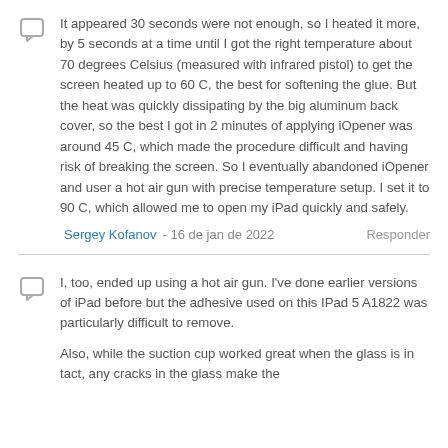It appeared 30 seconds were not enough, so I heated it more, by 5 seconds at a time until I got the right temperature about 70 degrees Celsius (measured with infrared pistol) to get the screen heated up to 60 C, the best for softening the glue. But the heat was quickly dissipating by the big aluminum back cover, so the best I got in 2 minutes of applying iOpener was around 45 C, which made the procedure difficult and having risk of breaking the screen. So I eventually abandoned iOpener and user a hot air gun with precise temperature setup. I set it to 90 C, which allowed me to open my iPad quickly and safely.
Sergey Kofanov - 16 de jan de 2022   Responder
I, too, ended up using a hot air gun. I've done earlier versions of iPad before but the adhesive used on this IPad 5 A1822 was particularly difficult to remove.
Also, while the suction cup worked great when the glass is in tact, any cracks in the glass make the